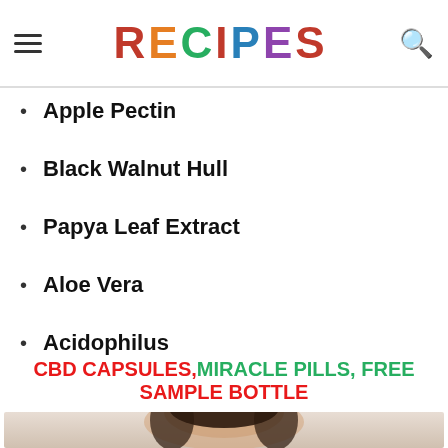RECIPES
Apple Pectin
Black Walnut Hull
Papya Leaf Extract
Aloe Vera
Acidophilus
CBD CAPSULES,MIRACLE PILLS, FREE SAMPLE BOTTLE
[Figure (photo): A relaxed woman with dark hair, eyes closed, hands behind her head, in a bright room]